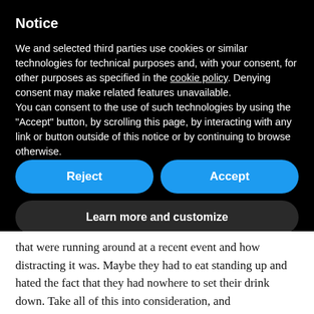Notice
We and selected third parties use cookies or similar technologies for technical purposes and, with your consent, for other purposes as specified in the cookie policy. Denying consent may make related features unavailable.
You can consent to the use of such technologies by using the "Accept" button, by scrolling this page, by interacting with any link or button outside of this notice or by continuing to browse otherwise.
Reject
Accept
Learn more and customize
that were running around at a recent event and how distracting it was. Maybe they had to eat standing up and hated the fact that they had nowhere to set their drink down. Take all of this into consideration, and